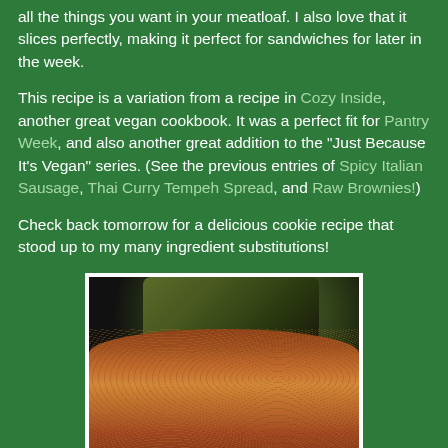all the things you want in your meatloaf. I also love that it slices perfectly, making it perfect for sandwiches for later in the week.
This recipe is a variation from a recipe in Cozy Inside, another great vegan cookbook. It was a perfect fit for Pantry Week, and also another great addition to the "Just Because It's Vegan" series. (See the previous entries of Spicy Italian Sausage, Thai Curry Tempeh Spread, and Raw Brownies!)
Check back tomorrow for a delicious cookie recipe that stood up to my many ingredient substitutions!
[Figure (photo): Close-up photo of a vegan meatloaf with a golden-brown crumbly crust, with roasted vegetables visible in the background, on a dark surface. Photo has a white border frame.]